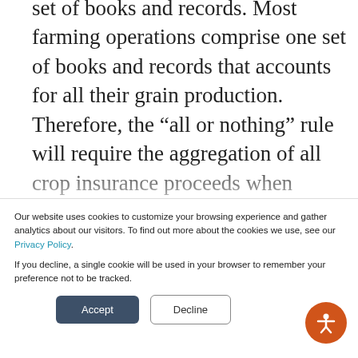set of books and records. Most farming operations comprise one set of books and records that accounts for all their grain production. Therefore, the “all or nothing” rule will require the aggregation of all crop insurance proceeds when making the election to defer the receipt of such proceeds until the tax year.
Our website uses cookies to customize your browsing experience and gather analytics about our visitors. To find out more about the cookies we use, see our Privacy Policy.

If you decline, a single cookie will be used in your browser to remember your preference not to be tracked.